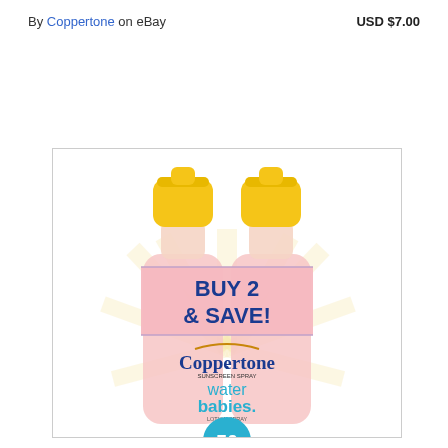By Coppertone on eBay   USD $7.00
[Figure (photo): Two Coppertone Water Babies Sunscreen Lotion Spray SPF 50 bottles with yellow caps, pink bodies, showing 'BUY 2 & SAVE!' promotional band and Coppertone branding]